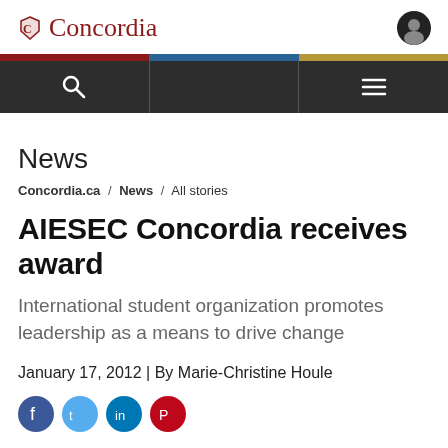Concordia
News
Concordia.ca / News / All stories
AIESEC Concordia receives award
International student organization promotes leadership as a means to drive change
January 17, 2012 | By Marie-Christine Houle